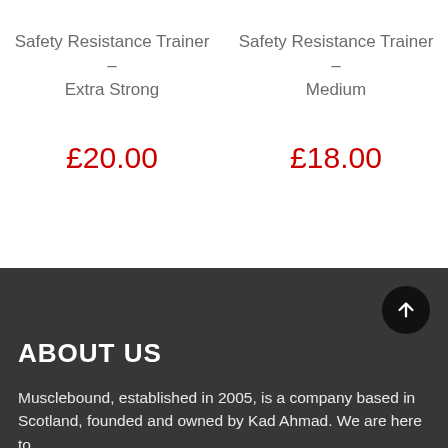Safety Resistance Trainer – Extra Strong
£20.00
Safety Resistance Trainer – Medium
£18.00
ABOUT US
Musclebound, established in 2005, is a company based in Scotland, founded and owned by Kad Ahmad. We are here to